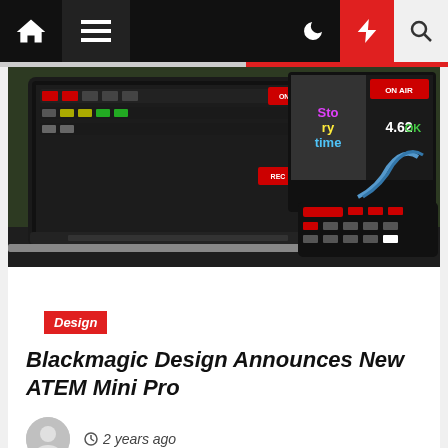Navigation bar with home, menu, dark mode, lightning/featured, and search icons
[Figure (photo): Blackmagic Design ATEM Mini Pro video switcher hardware next to a laptop showing the ATEM software control panel, with a monitor displaying 'Storytime ON AIR' in the background]
Design
Blackmagic Design Announces New ATEM Mini Pro
2 years ago